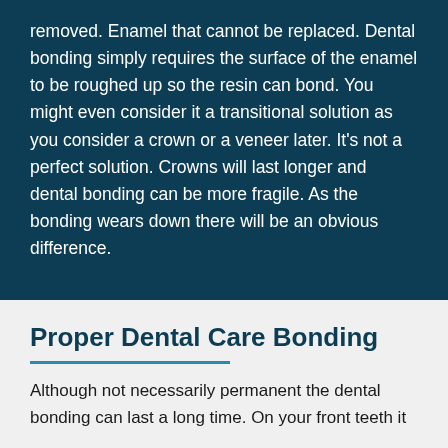removed. Enamel that cannot be replaced. Dental bonding simply requires the surface of the enamel to be roughed up so the resin can bond. You might even consider it a transitional solution as you consider a crown or a veneer later. It's not a perfect solution. Crowns will last longer and dental bonding can be more fragile. As the bonding wears down there will be an obvious difference.
Proper Dental Care Bonding
Although not necessarily permanent the dental bonding can last a long time. On your front teeth it